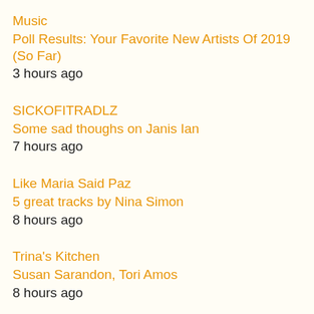Music
Poll Results: Your Favorite New Artists Of 2019 (So Far)
3 hours ago
SICKOFITRADLZ
Some sad thoughs on Janis Ian
7 hours ago
Like Maria Said Paz
5 great tracks by Nina Simon
8 hours ago
Trina's Kitchen
Susan Sarandon, Tori Amos
8 hours ago